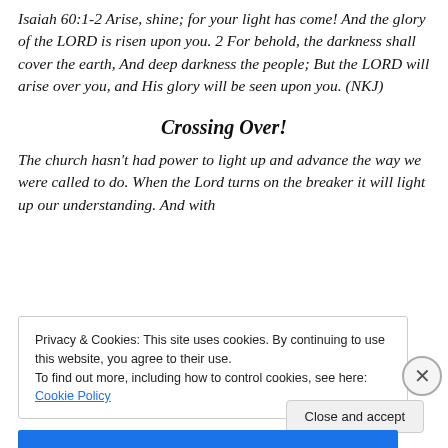Isaiah 60:1-2 Arise, shine; for your light has come! And the glory of the LORD is risen upon you. 2 For behold, the darkness shall cover the earth, And deep darkness the people; But the LORD will arise over you, and His glory will be seen upon you. (NKJ)
Crossing Over!
The church hasn't had power to light up and advance the way we were called to do. When the Lord turns on the breaker it will light up our understanding. And with
Privacy & Cookies: This site uses cookies. By continuing to use this website, you agree to their use.
To find out more, including how to control cookies, see here: Cookie Policy